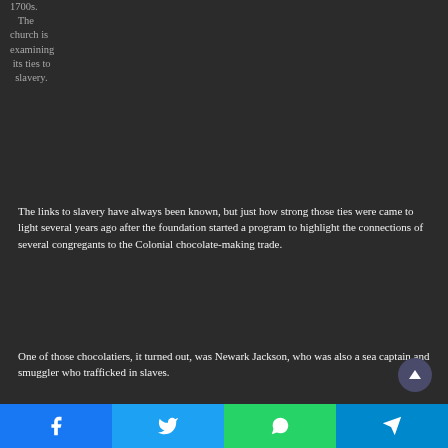1700s. The church is examining its ties to slavery.
The links to slavery have always been known, but just how strong those ties were came to light several years ago after the foundation started a program to highlight the connections of several congregants to the Colonial chocolate-making trade.
One of those chocolatiers, it turned out, was Newark Jackson, who was also a sea captain and smuggler who trafficked in slaves.